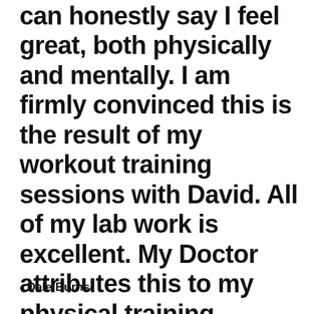can honestly say I feel great, both physically and mentally. I am firmly convinced this is the result of my workout training sessions with David. All of my lab work is excellent. My Doctor attributes this to my physical training.
- Dale Burns